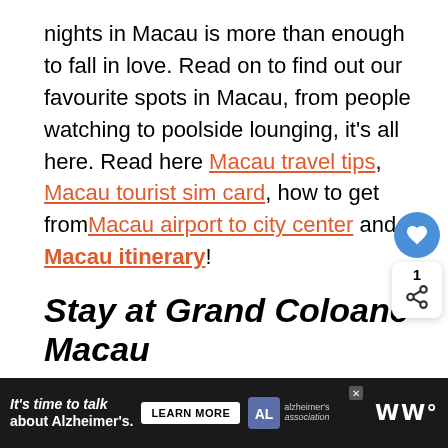nights in Macau is more than enough to fall in love. Read on to find out our favourite spots in Macau, from people watching to poolside lounging, it's all here. Read here Macau travel tips, Macau tourist sim card, how to get from Macau airport to city center and Macau itinerary!
Stay at Grand Coloane Macau
If you're a lover of the resort holiday then the Grand Coloane is the place for you. Most hotels Macau are just that, hotels, but the Grand Coloane is arguably the only true resort experience in Macau. This beautiful building is a piece of the he
[Figure (other): Blue circular heart/favourite button and a white share button with count '1' — floating action buttons on the right side of the page]
[Figure (other): Dark advertisement banner at bottom of page: "It's time to talk about Alzheimer's." with Learn More button, Alzheimer's Association logo, close button, and menu icons]